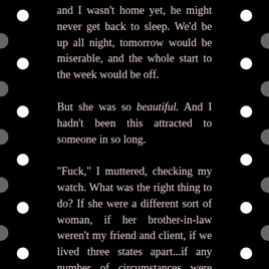and I wasn't home yet, he might never get back to sleep. We'd be up all night, tomorrow would be miserable, and the whole start to the week would be off.

But she was so beautiful. And I hadn't been this attracted to someone in so long.

"Fuck," I muttered, checking my watch. What was the right thing to do? If she were a different sort of woman, if her brother-in-law weren't my friend and client, if we lived three states apart...if any number of circumstances were changed, I'd grab her hand, drag her out to my car, and spend the next thirty minutes fucking her brains out in the back seat. It would feel so good to take control that way, to lose control that way, to